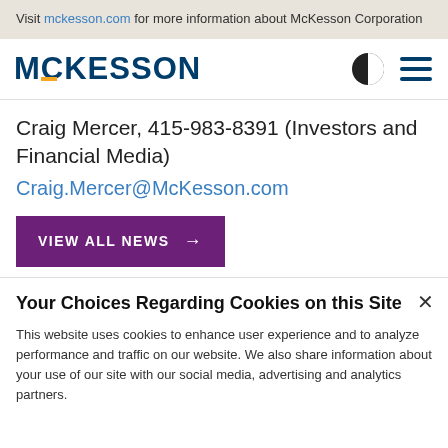Visit mckesson.com for more information about McKesson Corporation
[Figure (logo): McKesson Corporation logo with half-circle contrast icon and hamburger menu icon]
Craig Mercer, 415-983-8391 (Investors and Financial Media)
Craig.Mercer@McKesson.com
VIEW ALL NEWS →
Your Choices Regarding Cookies on this Site
This website uses cookies to enhance user experience and to analyze performance and traffic on our website. We also share information about your use of our site with our social media, advertising and analytics partners.